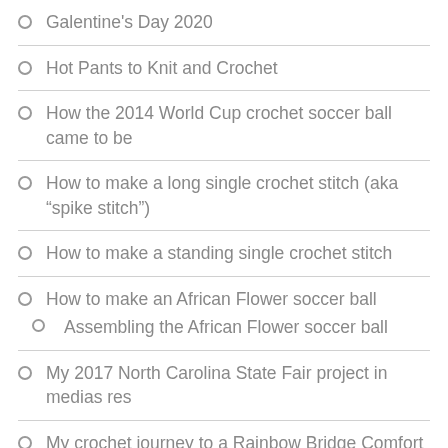Galentine's Day 2020
Hot Pants to Knit and Crochet
How the 2014 World Cup crochet soccer ball came to be
How to make a long single crochet stitch (aka “spike stitch”)
How to make a standing single crochet stitch
How to make an African Flower soccer ball
Assembling the African Flower soccer ball
My 2017 North Carolina State Fair project in medias res
My crochet journey to a Rainbow Bridge Comfort Shawl